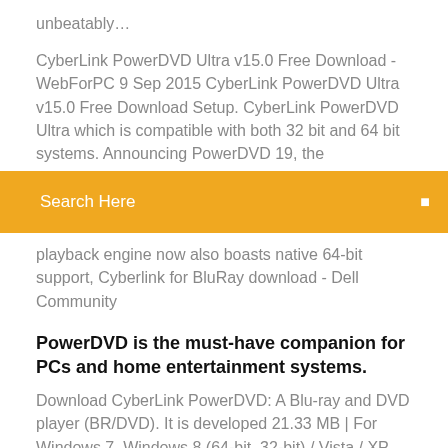unbeatably…
CyberLink PowerDVD Ultra v15.0 Free Download - WebForPC 9 Sep 2015 CyberLink PowerDVD Ultra v15.0 Free Download Setup. CyberLink PowerDVD Ultra which is compatible with both 32 bit and 64 bit systems. Announcing PowerDVD 19, the
[Figure (screenshot): Orange search bar with text 'Search Here' and a small icon on the right]
playback engine now also boasts native 64-bit support, Cyberlink for BluRay download - Dell Community
PowerDVD is the must-have companion for PCs and home entertainment systems.
Download CyberLink PowerDVD: A Blu-ray and DVD player (BR/DVD). It is developed 21.33 MB | For Windows 7, Windows 8 (64-bit, 32-bit) / Vista / XP (Free). CyberLink PowerDVD (free version) download for PC 23 Jul 2019 CyberLink PowerDVD can play videos, songs, VR 360° content, DVDs, Windows 8 or